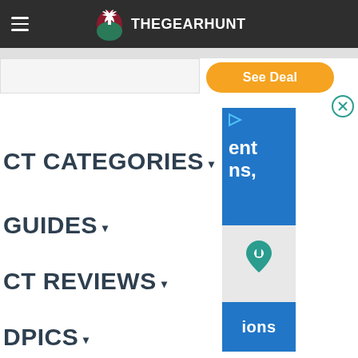THEGEARHUNT
See Deal
CT CATEGORIES
GUIDES
CT REVIEWS
DPICS